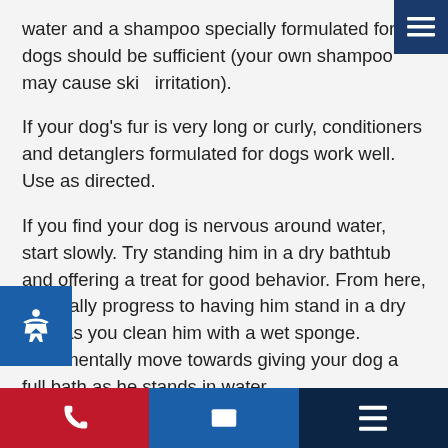water and a shampoo specially formulated for dogs should be sufficient (your own shampoo may cause skin irritation).
If your dog's fur is very long or curly, conditioners and detanglers formulated for dogs work well. Use as directed.
If you find your dog is nervous around water, start slowly. Try standing him in a dry bathtub and offering a treat for good behavior. From here, gradually progress to having him stand in a dry bath as you clean him with a wet sponge. Incrementally move towards giving your dog a full bath as he stands in water.
Brushing
You may find that your dog loves being brushed. If so, one of the hardest parts of your work is done. For most breeds, a regular weekly brushing will help remove dead hair from